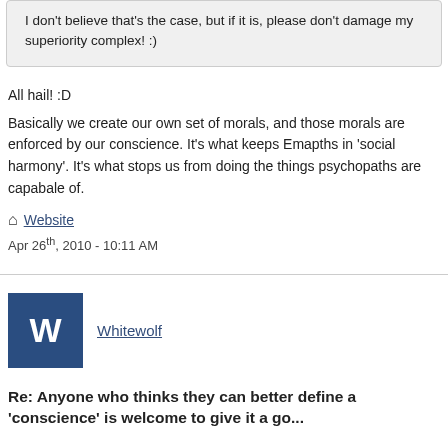I don't believe that's the case, but if it is, please don't damage my superiority complex! :)
All hail! :D
Basically we create our own set of morals, and those morals are enforced by our conscience. It's what keeps Emapths in 'social harmony'. It's what stops us from doing the things psychopaths are capabale of.
Website
Apr 26th, 2010 - 10:11 AM
Whitewolf
Re: Anyone who thinks they can better define a 'conscience' is welcome to give it a go...